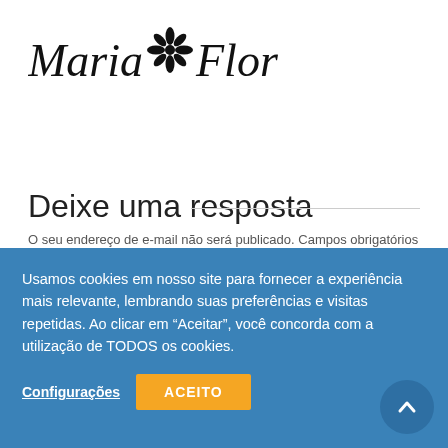[Figure (logo): Maria Flor logo with flower/snowflake symbol between Maria and Flor in italic serif script]
Deixe uma resposta
O seu endereço de e-mail não será publicado. Campos obrigatórios são marcados com *
Your Comment
Usamos cookies em nosso site para fornecer a experiência mais relevante, lembrando suas preferências e visitas repetidas. Ao clicar em "Aceitar", você concorda com a utilização de TODOS os cookies.
Configurações
ACEITO